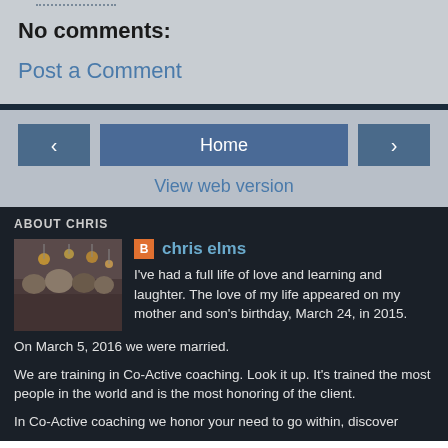No comments:
Post a Comment
Home
View web version
ABOUT CHRIS
chris elms
I've had a full life of love and learning and laughter. The love of my life appeared on my mother and son's birthday, March 24, in 2015.
On March 5, 2016 we were married.
We are training in Co-Active coaching. Look it up. It's trained the most people in the world and is the most honoring of the client.
In Co-Active coaching we honor your need to go within, discover